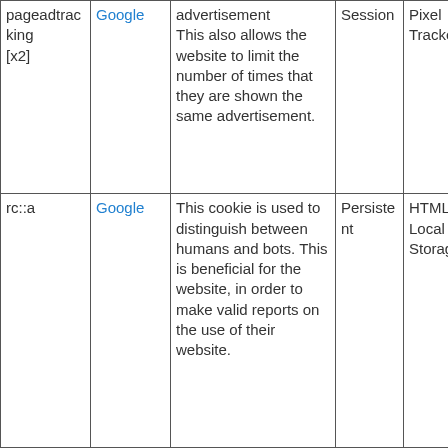| Name | Provider | Purpose | Expiry | Type |
| --- | --- | --- | --- | --- |
| pageadtracking [x2] | Google | advertisement This also allows the website to limit the number of times that they are shown the same advertisement. | Session | Pixel Tracker |
| rc::a | Google | This cookie is used to distinguish between humans and bots. This is beneficial for the website, in order to make valid reports on the use of their website. | Persistent | HTML Local Storage |